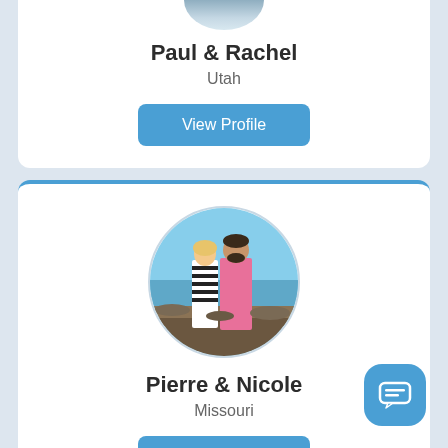[Figure (photo): Circular profile photo (partially visible at top) for Paul & Rachel]
Paul & Rachel
Utah
View Profile
[Figure (photo): Circular profile photo of a couple (Pierre & Nicole) standing outdoors near the ocean, woman in striped dress, man in pink shirt]
Pierre & Nicole
Missouri
View Profile